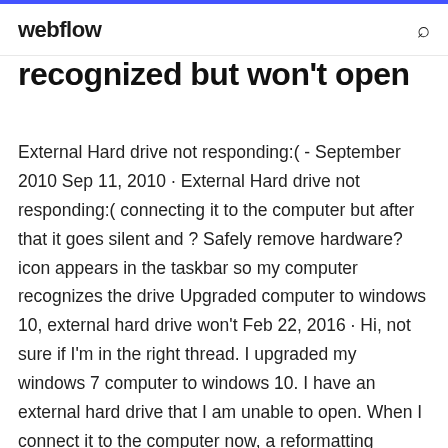webflow
recognized but won't open
External Hard drive not responding:( - September 2010 Sep 11, 2010 · External Hard drive not responding:( connecting it to the computer but after that it goes silent and ? Safely remove hardware? icon appears in the taskbar so my computer recognizes the drive Upgraded computer to windows 10, external hard drive won't Feb 22, 2016 · Hi, not sure if I'm in the right thread. I upgraded my windows 7 computer to windows 10. I have an external hard drive that I am unable to open. When I connect it to the computer now, a reformatting window pops up asking to do this. Obviously, I